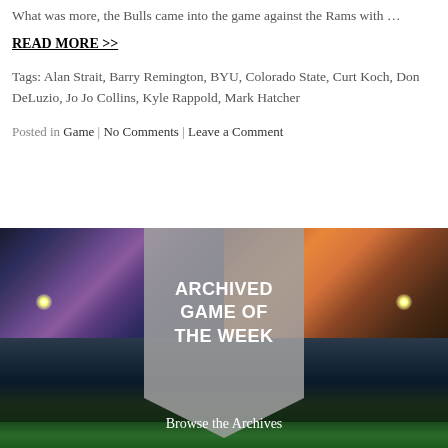What was more, the Bulls came into the game against the Rams with …
READ MORE >>
Tags: Alan Strait, Barry Remington, BYU, Colorado State, Curt Koch, Don DeLuzio, Jo Jo Collins, Kyle Rappold, Mark Hatcher
Posted in Game | No Comments | Leave a Comment
[Figure (photo): Stadium photo at dusk/sunset with crowd, field lights, and an overlaid ribbon banner reading 'ARCHIVED GAME OF THE WEEK' with 'Browse the Archives' text below]